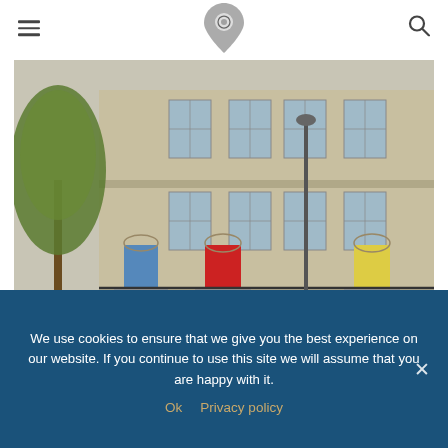All Around Ireland — navigation bar with hamburger menu, logo, and search icon
[Figure (photo): Photograph of a Georgian-style limestone building facade with multiple sash windows, three arched doorways with coloured doors (blue, red, yellow), wrought iron railings, a street lamp, and a tree in the foreground. An 'All Around Ireland' watermark is visible in the lower left. The building appears to be on a street in Ireland.]
We use cookies to ensure that we give you the best experience on our website. If you continue to use this site we will assume that you are happy with it.
Ok   Privacy policy